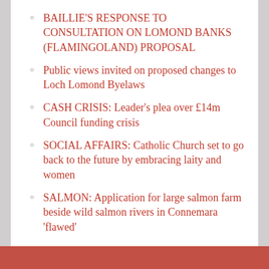BAILLIE'S RESPONSE TO CONSULTATION ON LOMOND BANKS (FLAMINGOLAND) PROPOSAL
Public views invited on proposed changes to Loch Lomond Byelaws
CASH CRISIS: Leader's plea over £14m Council funding crisis
SOCIAL AFFAIRS: Catholic Church set to go back to the future by embracing laity and women
SALMON: Application for large salmon farm beside wild salmon rivers in Connemara 'flawed'